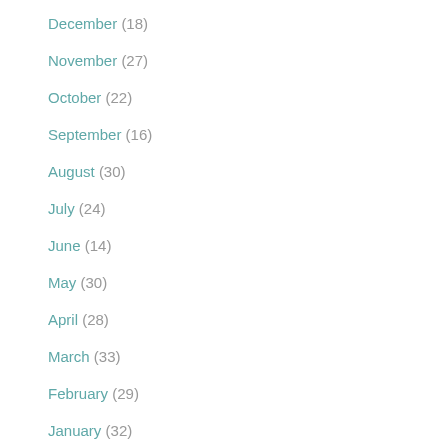December (18)
November (27)
October (22)
September (16)
August (30)
July (24)
June (14)
May (30)
April (28)
March (33)
February (29)
January (32)
► 2019 (318)